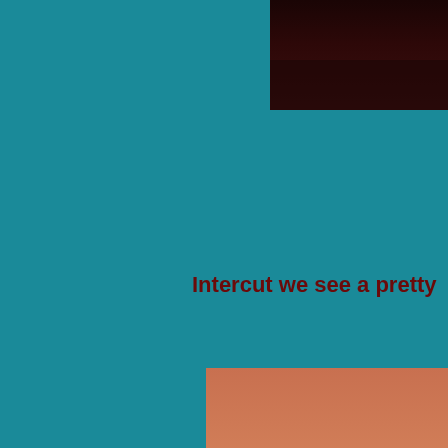[Figure (photo): Dark night sky photograph, upper right corner, dark reddish-brown tones]
Intercut we see a pretty
[Figure (photo): Sunset or dusk landscape photograph showing a silhouetted island with trees against an orange-red sky reflected in calm water]